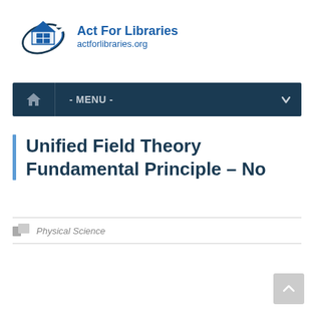[Figure (logo): Act For Libraries logo: house icon with circular arrow and grid window, blue text reading 'Act For Libraries' and 'actforlibraries.org']
- MENU -
Unified Field Theory Fundamental Principle – No
Physical Science